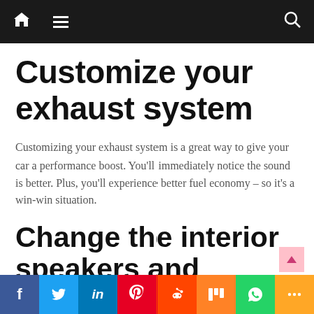Navigation bar with home, menu, and search icons
Customize your exhaust system
Customizing your exhaust system is a great way to give your car a performance boost. You'll immediately notice the sound is better. Plus, you'll experience better fuel economy – so it's a win-win situation.
Change the interior speakers and lighting
Share buttons: Facebook, Twitter, LinkedIn, Pinterest, Reddit, Mix, WhatsApp, More